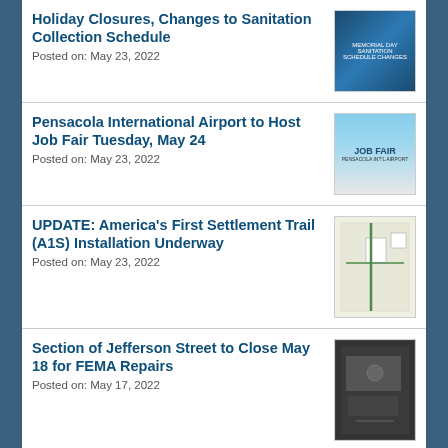Holiday Closures, Changes to Sanitation Collection Schedule
Posted on: May 23, 2022
Pensacola International Airport to Host Job Fair Tuesday, May 24
Posted on: May 23, 2022
UPDATE: America's First Settlement Trail (A1S) Installation Underway
Posted on: May 23, 2022
Section of Jefferson Street to Close May 18 for FEMA Repairs
Posted on: May 17, 2022
City of Pensacola Selected by EPA for $367K Brownfields Assessment Grant